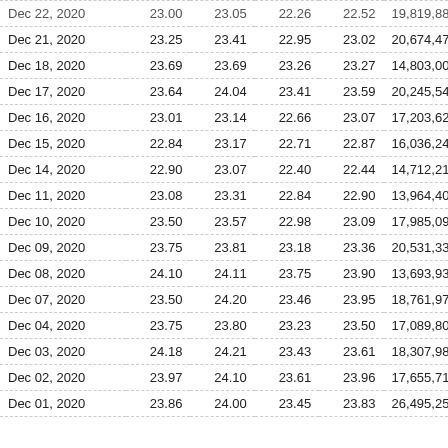| Date | Open | High | Low | Close | Volume |
| --- | --- | --- | --- | --- | --- |
| Dec 22, 2020 | 23.00 | 23.05 | 22.26 | 22.52 | 19,819,884 |
| Dec 21, 2020 | 23.25 | 23.41 | 22.95 | 23.02 | 20,674,474 |
| Dec 18, 2020 | 23.69 | 23.69 | 23.26 | 23.27 | 14,803,000 |
| Dec 17, 2020 | 23.64 | 24.04 | 23.41 | 23.59 | 20,245,540 |
| Dec 16, 2020 | 23.01 | 23.14 | 22.66 | 23.07 | 17,203,620 |
| Dec 15, 2020 | 22.84 | 23.17 | 22.71 | 22.87 | 16,036,249 |
| Dec 14, 2020 | 22.90 | 23.07 | 22.40 | 22.44 | 14,712,212 |
| Dec 11, 2020 | 23.08 | 23.31 | 22.84 | 22.90 | 13,964,400 |
| Dec 10, 2020 | 23.50 | 23.57 | 22.98 | 23.09 | 17,985,096 |
| Dec 09, 2020 | 23.75 | 23.81 | 23.18 | 23.36 | 20,531,332 |
| Dec 08, 2020 | 24.10 | 24.11 | 23.75 | 23.90 | 13,693,934 |
| Dec 07, 2020 | 23.50 | 24.20 | 23.46 | 23.95 | 18,761,970 |
| Dec 04, 2020 | 23.75 | 23.80 | 23.23 | 23.50 | 17,089,800 |
| Dec 03, 2020 | 24.18 | 24.21 | 23.43 | 23.61 | 18,307,988 |
| Dec 02, 2020 | 23.97 | 24.10 | 23.61 | 23.96 | 17,655,716 |
| Dec 01, 2020 | 23.86 | 24.00 | 23.45 | 23.83 | 26,495,258 |